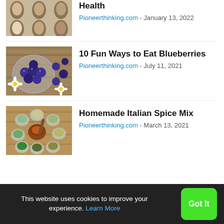[Figure (photo): Partial view of spice-filled spoons arranged in rows, cropped at top]
Health
Pioneerthinking.com - January 13, 2022
[Figure (photo): Bowl of blueberries with white daisy flowers on a wooden surface]
10 Fun Ways to Eat Blueberries
Pioneerthinking.com - July 11, 2021
[Figure (photo): Various spice containers with mortar and pestle on wooden surface]
Homemade Italian Spice Mix
Pioneerthinking.com - March 13, 2021
This website uses cookies to improve your experience. Learn More